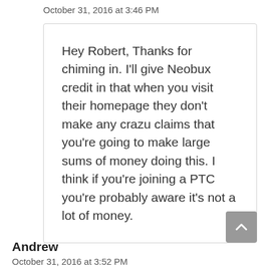October 31, 2016 at 3:46 PM
Hey Robert, Thanks for chiming in. I'll give Neobux credit in that when you visit their homepage they don't make any crazu claims that you're going to make large sums of money doing this. I think if you're joining a PTC you're probably aware it's not a lot of money.
Andrew
October 31, 2016 at 3:52 PM